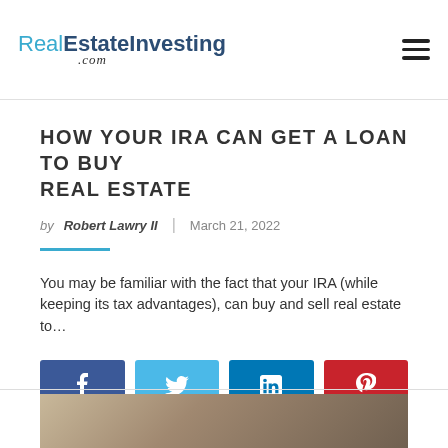RealEstateInvesting.com
HOW YOUR IRA CAN GET A LOAN TO BUY REAL ESTATE
by Robert Lawry II | March 21, 2022
You may be familiar with the fact that your IRA (while keeping its tax advantages), can buy and sell real estate to…
[Figure (infographic): Social media share buttons: Facebook, Twitter, LinkedIn, Pinterest]
[Figure (photo): Bottom cropped photo, partially visible]